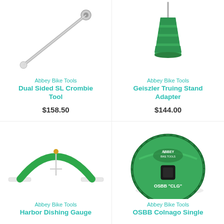[Figure (photo): Abbey Bike Tools Dual Sided SL Crombie Tool - silver metal tool against white background]
Abbey Bike Tools
Dual Sided SL Crombie Tool
$158.50
[Figure (photo): Abbey Bike Tools Geiszler Truing Stand Adapter - green anodized metal adapter against white background]
Abbey Bike Tools
Geiszler Truing Stand Adapter
$144.00
[Figure (photo): Abbey Bike Tools Harbor Dishing Gauge - green curved dishing gauge tool against white background]
Abbey Bike Tools
Harbor Dishing Gauge
[Figure (photo): Abbey Bike Tools OSBB Colnago Single - round green anodized bottom bracket tool with square drive, labeled OSBB CLG]
Abbey Bike Tools
OSBB Colnago Single